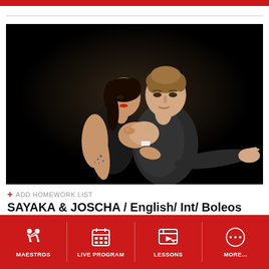[Figure (photo): A tango dancing couple — a woman in black dress and a man in dark outfit — dancing closely together against a black background.]
+ ADD HOMEWORK LIST
SAYAKA & JOSCHA / English/ Int/ Boleos forward 1
MAESTROS | LIVE PROGRAM | LESSONS | MORE…